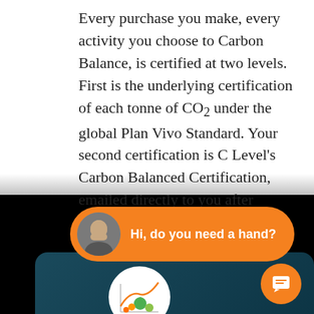Every purchase you make, every activity you choose to Carbon Balance, is certified at two levels. First is the underlying certification of each tonne of CO2 under the global Plan Vivo Standard. Your second certification is C Level's Carbon Balanced Certification, emailed directly to you after payment.
[Figure (screenshot): Chat widget showing an orange pill-shaped bubble with a man's avatar photo and the text 'Hi, do you need a hand?' on a black background, with a dark teal card panel below containing a circular logo with growth chart illustration and an orange chat icon button.]